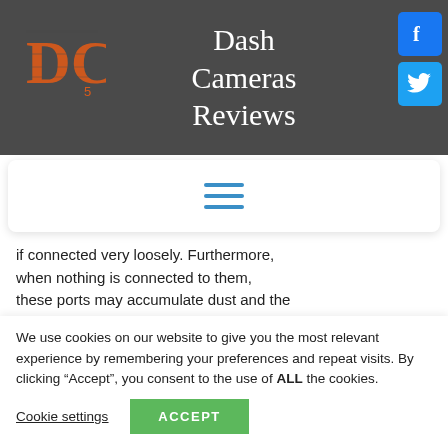Dash Cameras Reviews
[Figure (logo): DC logo — orange distressed block letters on dark background]
[Figure (other): Facebook icon — white f on blue square]
[Figure (other): Twitter icon — white bird on light blue square]
[Figure (other): Hamburger menu icon — three horizontal blue lines]
if connected very loosely. Furthermore, when nothing is connected to them, these ports may accumulate dust and the
[Figure (other): Scroll-to-top button — grey rounded rectangle with upward chevron]
We use cookies on our website to give you the most relevant experience by remembering your preferences and repeat visits. By clicking “Accept”, you consent to the use of ALL the cookies.
Cookie settings
ACCEPT